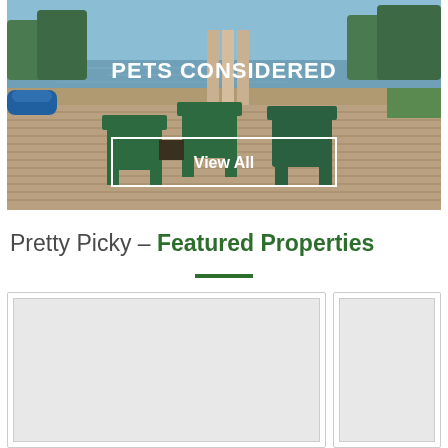[Figure (photo): Outdoor lakeside deck with green plastic Adirondack chairs, a wooden dock extending over a lake, kayaks on the left, and trees in the background. Text overlay reads 'PETS CONSIDERED' with a 'View All' button below.]
Pretty Picky – Featured Properties
[Figure (photo): Partial view of a featured property card (left card), showing a placeholder image area with a light gray background.]
[Figure (photo): Partial view of a second featured property card (right card), showing a placeholder image area with a light gray background.]